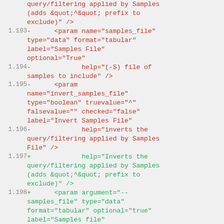Code diff showing modifications to XML parameter definitions for samples file and invert_samples_file parameters, lines 193-200
1.193 -      <param name="samples_file" type="data" format="tabular" label="Samples File" optional="True"
1.194 -             help="(-S) file of samples to include" />
1.195 -      <param name="invert_samples_file" type="boolean" truevalue="^" falsevalue="" checked="false" label="Invert Samples File"
1.196 -             help="inverts the query/filtering applied by Samples File" />
1.197 +             help="Inverts the query/filtering applied by Samples (adds &quot;^&quot; prefix to exclude)" />
1.198 +      <param argument="--samples_file" type="data" format="tabular" optional="true" label="Samples file"
1.199 +             help="File of samples to include" />
1.200 +      <param name="invert_samples_file" type="boolean" truevalue="^" falsevalue="" checked="false" label="Invert Samples file"